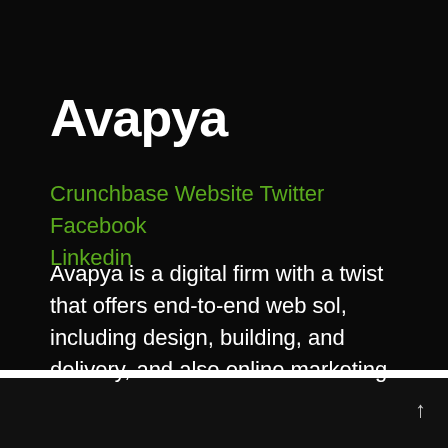Avapya
Crunchbase Website Twitter Facebook Linkedin
Avapya is a digital firm with a twist that offers end-to-end web sol, including design, building, and delivery, and also online marketing.